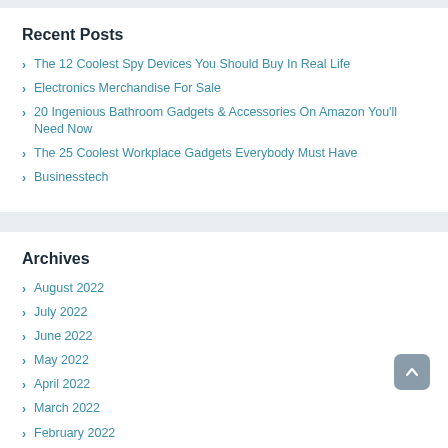Recent Posts
The 12 Coolest Spy Devices You Should Buy In Real Life
Electronics Merchandise For Sale
20 Ingenious Bathroom Gadgets & Accessories On Amazon You'll Need Now
The 25 Coolest Workplace Gadgets Everybody Must Have
Businesstech
Archives
August 2022
July 2022
June 2022
May 2022
April 2022
March 2022
February 2022
January 2022
December 2021